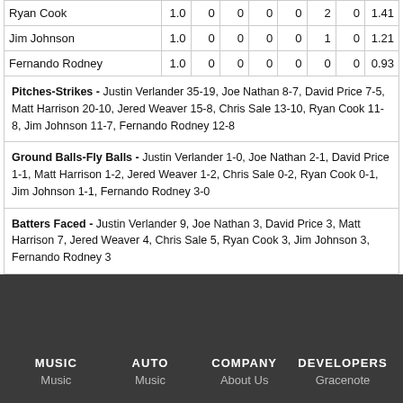| Ryan Cook | 1.0 | 0 | 0 | 0 | 0 | 2 | 0 | 1.41 |
| Jim Johnson | 1.0 | 0 | 0 | 0 | 0 | 1 | 0 | 1.21 |
| Fernando Rodney | 1.0 | 0 | 0 | 0 | 0 | 0 | 0 | 0.93 |
| Pitches-Strikes - Justin Verlander 35-19, Joe Nathan 8-7, David Price 7-5, Matt Harrison 20-10, Jered Weaver 15-8, Chris Sale 13-10, Ryan Cook 11-8, Jim Johnson 11-7, Fernando Rodney 12-8 |
| Ground Balls-Fly Balls - Justin Verlander 1-0, Joe Nathan 2-1, David Price 1-1, Matt Harrison 1-2, Jered Weaver 1-2, Chris Sale 0-2, Ryan Cook 0-1, Jim Johnson 1-1, Fernando Rodney 3-0 |
| Batters Faced - Justin Verlander 9, Joe Nathan 3, David Price 3, Matt Harrison 7, Jered Weaver 4, Chris Sale 5, Ryan Cook 3, Jim Johnson 3, Fernando Rodney 3 |
MUSIC | AUTO | COMPANY | DEVELOPERS
Music | Music | About Us | Gracenote